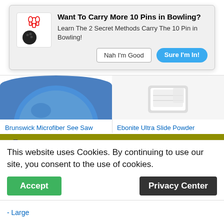Want To Carry More 10 Pins in Bowling?
Learn The 2 Secret Methods Carry The 10 Pin in Bowling!
Nah I'm Good
Sure I'm In!
[Figure (photo): Blue bowling ball product image]
Brunswick Microfiber See Saw (Black/Navy)
$13.95
★★★★½ (854)
[Figure (photo): White powder bag product image]
Ebonite Ultra Slide Powder
★★★★½ (1781)
ATTENTION REQUIRED
This website uses Cookies. By continuing to use our site, you consent to the use of cookies.
Accept
Privacy Center
- Large